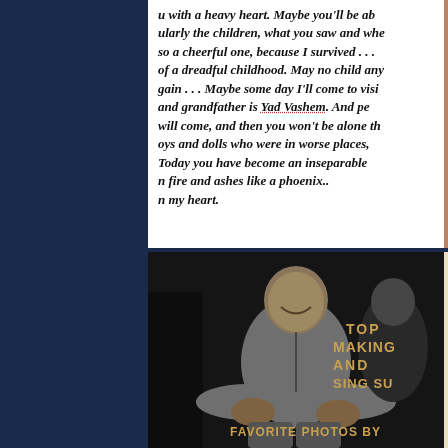u with a heavy heart. Maybe you'll be ab ularly the children, what you saw and whe so a cheerful one, because I survived . . . of a dreadful childhood. May no child any gain . . . Maybe some day I'll come to visi and grandfather is Yad Vashem. And pe will come, and then you won't be alone th oys and dolls who were in worse places, Today you have become an inseparable n fire and ashes like a phoenix.. n my heart.
[Figure (photo): Black and white photo of a young child]
[Figure (photo): Black and white photo of a man in baseball/work clothes sitting with arms folded, smiling]
[Figure (photo): Newspaper clipping with headline 'n Wounds' and text about a girl]